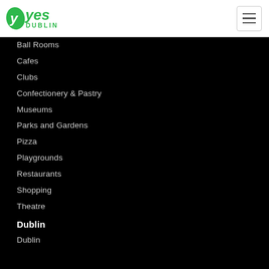Yes Dublin
Ball Rooms
Cafes
Clubs
Confectionery & Pastry
Museums
Parks and Gardens
Pizza
Playgrounds
Restaurants
Shopping
Theatre
Dublin
Dublin